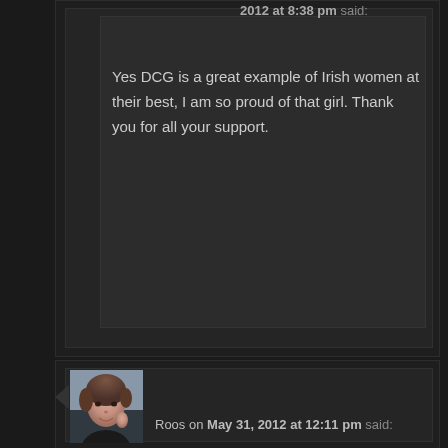2012 at 8:38 pm said:
Yes DCG is a great example of Irish women at their best, I am so proud of that girl. Thank you for all your support.
[Figure (photo): Avatar photo of Roos - a woman with short brown hair smiling]
Roos on May 31, 2012 at 12:11 pm said: